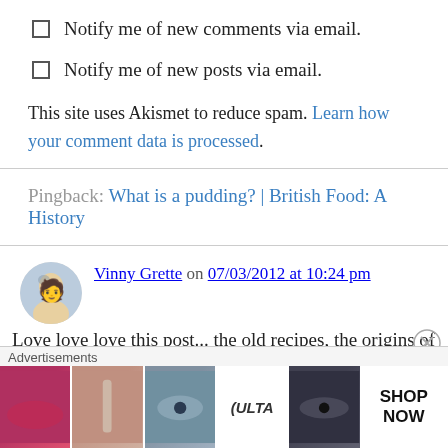Notify me of new comments via email.
Notify me of new posts via email.
This site uses Akismet to reduce spam. Learn how your comment data is processed.
Pingback: What is a pudding? | British Food: A History
Vinny Grette on 07/03/2012 at 10:24 pm
Love love love this post... the old recipes, the origins of the pudding, and especially that puddings were originally cooked in intestinal
[Figure (other): Advertisement banner for ULTA beauty products showing cosmetics imagery with SHOP NOW button]
Advertisements